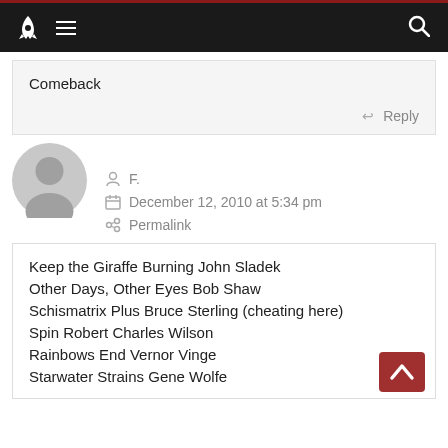Navigation bar with rocket logo, hamburger menu, and search icon
Comeback
Reply
F.
December 12, 2010 at 5:34 pm
Permalink
Keep the Giraffe Burning John Sladek
Other Days, Other Eyes Bob Shaw
Schismatrix Plus Bruce Sterling (cheating here)
Spin Robert Charles Wilson
Rainbows End Vernor Vinge
Starwater Strains Gene Wolfe